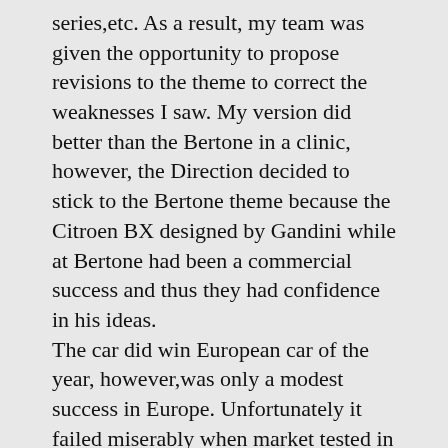series,etc. As a result, my team was given the opportunity to propose revisions to the theme to correct the weaknesses I saw. My version did better than the Bertone in a clinic, however, the Direction decided to stick to the Bertone theme because the Citroen BX designed by Gandini while at Bertone had been a commercial success and thus they had confidence in his ideas.
The car did win European car of the year, however,was only a modest success in Europe. Unfortunately it failed miserably when market tested in the US.
Below is the proposal we did to enhance the Bertone theme plus my favorite proposal from the Velizy team which I believe was more in the